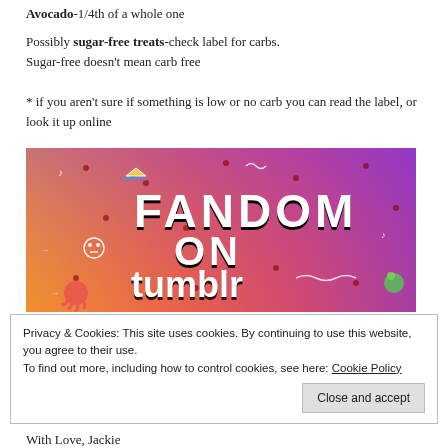Avocado-1/4th of a whole one
Possibly sugar-free treats-check label for carbs. Sugar-free doesn't mean carb free
* if you aren't sure if something is low or no carb you can read the label, or look it up online
[Figure (illustration): Colorful Fandom on Tumblr promotional banner with orange-to-purple gradient background, doodles of skulls, music notes, stars, a boat, and an octopus, with bold text reading FANDOM ON tumblr]
Privacy & Cookies: This site uses cookies. By continuing to use this website, you agree to their use.
To find out more, including how to control cookies, see here: Cookie Policy
With Love, Jackie